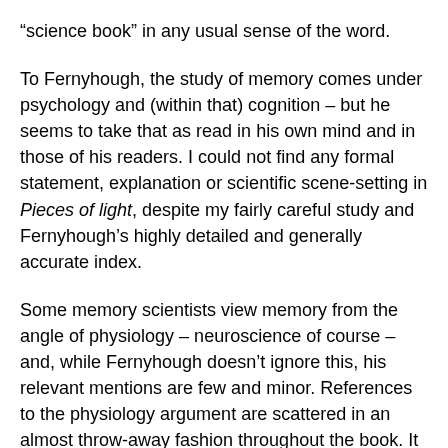“science book” in any usual sense of the word.
To Fernyhough, the study of memory comes under psychology and (within that) cognition – but he seems to take that as read in his own mind and in those of his readers. I could not find any formal statement, explanation or scientific scene-setting in Pieces of light, despite my fairly careful study and Fernyhough’s highly detailed and generally accurate index.
Some memory scientists view memory from the angle of physiology – neuroscience of course – and, while Fernyhough doesn’t ignore this, his relevant mentions are few and minor. References to the physiology argument are scattered in an almost throw-away fashion throughout the book. It must be said that there is just one picture in all those small-print pages – a science-based one, after the text and before the notes, that sketches and labels the relevant parts of the